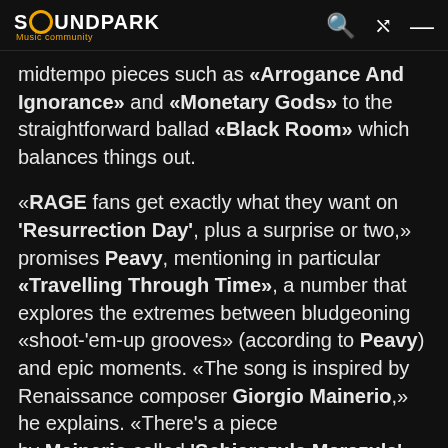SOUNDPARK Music community
midtempo pieces such as «Arrogance And Ignorance» and «Monetary Gods» to the straightforward ballad «Black Room» which balances things out.
«RAGE fans get exactly what they want on 'Resurrection Day', plus a surprise or two,» promises Peavy, mentioning in particular «Travelling Through Time», a number that explores the extremes between bludgeoning «shoot-'em-up grooves» (according to Peavy) and epic moments. «The song is inspired by Renaissance composer Giorgio Mainerio,» he explains. «There's a piece by Mainerio called 'Schiarazula Marazula', with a wonderful theme that I often play at home on acoustic